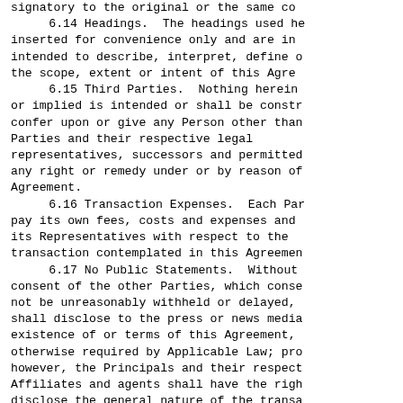signatory to the original or the same co...
6.14 Headings. The headings used here inserted for convenience only and are in intended to describe, interpret, define the scope, extent or intent of this Agre...
6.15 Third Parties. Nothing herein or implied is intended or shall be constru confer upon or give any Person other than Parties and their respective legal representatives, successors and permitted any right or remedy under or by reason of Agreement.
6.16 Transaction Expenses. Each Par pay its own fees, costs and expenses and its Representatives with respect to the transaction contemplated in this Agreemen...
6.17 No Public Statements. Without consent of the other Parties, which conse not be unreasonably withheld or delayed, shall disclose to the press or news media existence of or terms of this Agreement, otherwise required by Applicable Law; pro however, the Principals and their respect Affiliates and agents shall have the righ disclose the general nature of the transa contemplated in this Agreement but only i connection with the sale or other dispos any An-Con equity securities owned by eit Principal or any Affiliate of either Pri provided, however, under no circumstances to such disclosure shall any such party h...